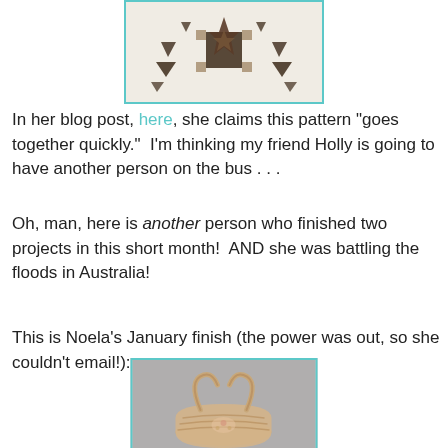[Figure (photo): A quilt with a star/bear paw pattern in brown and cream colors on a white background, displayed hanging up.]
In her blog post, here, she claims this pattern "goes together quickly."  I'm thinking my friend Holly is going to have another person on the bus . . .
Oh, man, here is another person who finished two projects in this short month!  AND she was battling the floods in Australia!
This is Noela's January finish (the power was out, so she couldn't email!):
[Figure (photo): A woven basket with handles, appearing to be made of fabric or straw with a floral pattern, photographed against a gray background.]